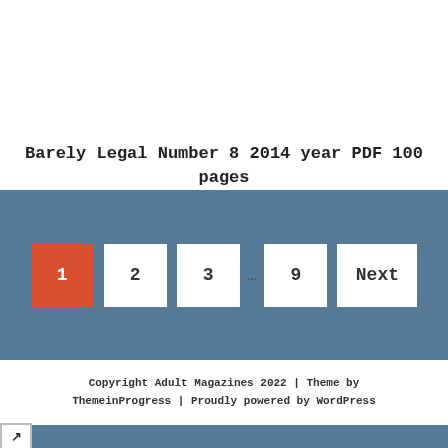[Figure (photo): Thumbnail image strip at the top of a web page card showing a magazine cover or page preview with colorful clothing visible]
Barely Legal Number 8 2014 year PDF 100 pages
1  2  3  ...  9  Next  (pagination navigation)
Copyright Adult Magazines 2022 | Theme by ThemeinProgress | Proudly powered by WordPress